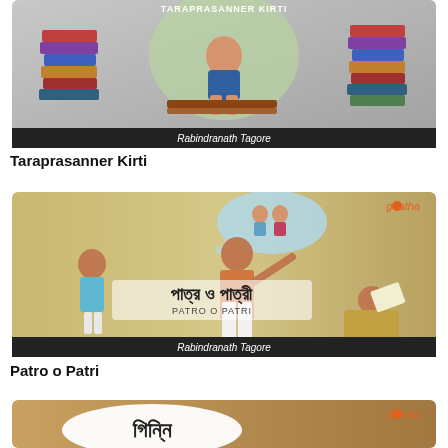[Figure (illustration): Book cover illustration for Taraprasanner Kirti by Rabindranath Tagore. Shows a child sitting surrounded by tall stacks of books, with text 'Taraprasanner Kirti' and 'Rabindranath Tagore' at the bottom.]
Taraprasanner Kirti
[Figure (illustration): Book cover illustration for Patro o Patri by Rabindranath Tagore. Shows Bengali characters 'পাত্র ও পাত্রী' and 'Patro O Patri', with cartoon figures of people. Gaatha logo in top right corner.]
Patro o Patri
[Figure (illustration): Partial book cover visible at bottom with Bengali text 'গিন্নি' and Gaatha logo in top right corner. Brown/wooden texture background.]